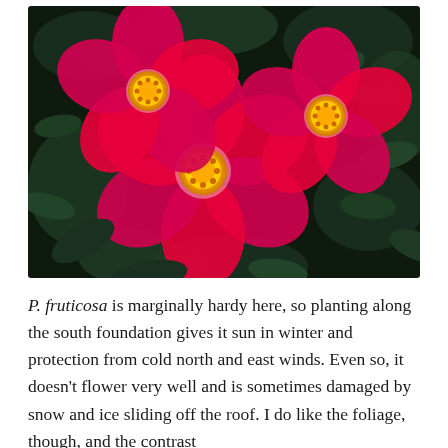[Figure (photo): Close-up photograph of three bright pink/magenta open roses with yellow stamens, set against a dark green leafy background.]
P. fruticosa is marginally hardy here, so planting along the south foundation gives it sun in winter and protection from cold north and east winds. Even so, it doesn't flower very well and is sometimes damaged by snow and ice sliding off the roof. I do like the foliage, though, and the contrast